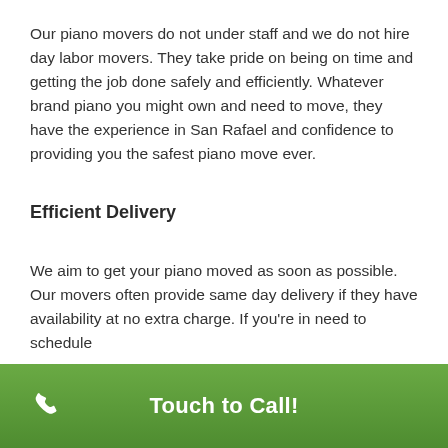Our piano movers do not under staff and we do not hire day labor movers. They take pride on being on time and getting the job done safely and efficiently. Whatever brand piano you might own and need to move, they have the experience in San Rafael and confidence to providing you the safest piano move ever.
Efficient Delivery
We aim to get your piano moved as soon as possible. Our movers often provide same day delivery if they have availability at no extra charge. If you're in need to schedule
Touch to Call!